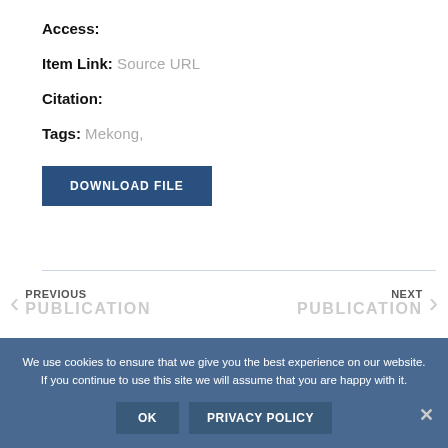Access:
Item Link: Source URL
Citation:
Tags: Mekong,
DOWNLOAD FILE
PREVIOUS PUBLICATION
NEXT PUBLICATION
We use cookies to ensure that we give you the best experience on our website. If you continue to use this site we will assume that you are happy with it.
OK
PRIVACY POLICY